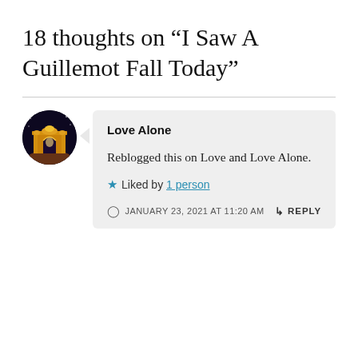18 thoughts on “I Saw A Guillemot Fall Today”
Love Alone
Reblogged this on Love and Love Alone.
Liked by 1 person
JANUARY 23, 2021 AT 11:20 AM
REPLY